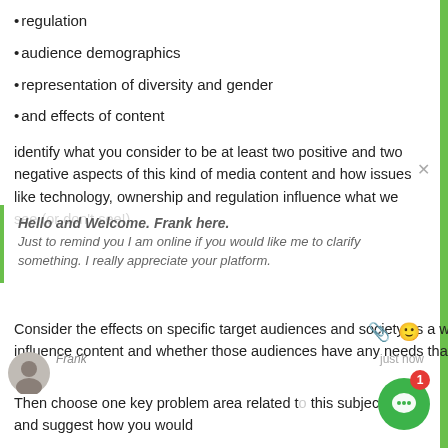regulation
audience demographics
representation of diversity and gender
and effects of content
identify what you consider to be at least two positive and two negative aspects of this kind of media content and how issues like technology, ownership and regulation influence what we see (or don't see!).
[Figure (screenshot): Chat popup overlay with text: Hello and Welcome. Frank here. Just to remind you I am online if you would like me to clarify something. I really appreciate your platform.]
Consider the effects on specific target audiences and society as a whole and also consider how much power those audiences have to influence content and whether those audiences have any needs that are not being addressed.
Then choose one key problem area related to this subject and suggest how you would attempt to address it and how you can engage